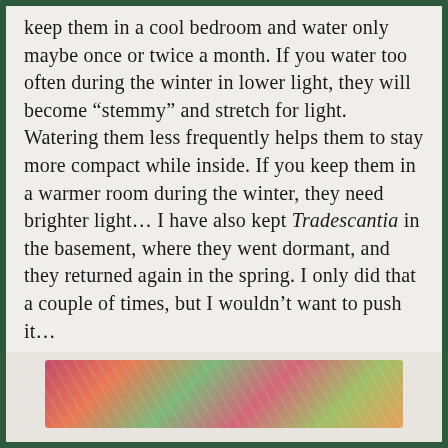keep them in a cool bedroom and water only maybe once or twice a month. If you water too often during the winter in lower light, they will become “stemmy” and stretch for light. Watering them less frequently helps them to stay more compact while inside. If you keep them in a warmer room during the winter, they need brighter light… I have also kept Tradescantia in the basement, where they went dormant, and they returned again in the spring. I only did that a couple of times, but I wouldn’t want to push it…
[Figure (photo): Close-up photo of colorful Tradescantia plant leaves showing pink, green, and variegated foliage]